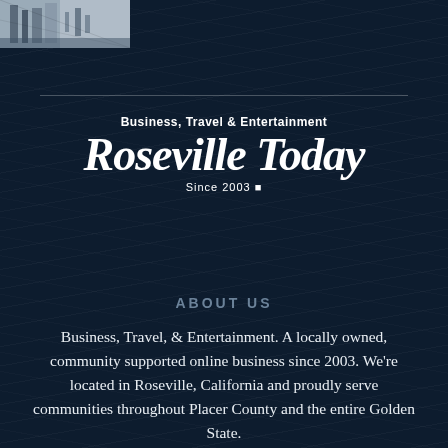[Figure (photo): Partial photo of a building/industrial structure visible in upper left corner]
Business, Travel & Entertainment
Roseville Today
Since 2003
ABOUT US
Business, Travel, & Entertainment. A locally owned, community supported online business since 2003. We're located in Roseville, California and proudly serve communities throughout Placer County and the entire Golden State.